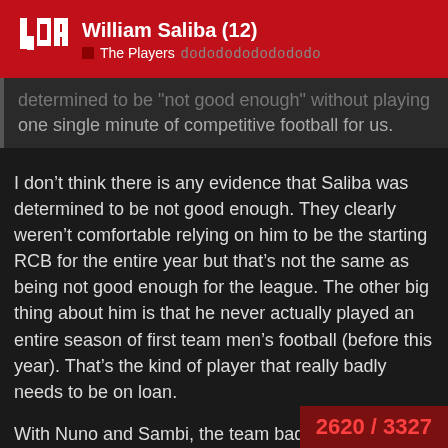William Saliba (12) — The Players dodododododododo
determined to be not good enough. Without playing one single minute of competitive football for us.
I don’t think there is any evidence that Saliba was determined to be not good enough. They clearly weren’t comfortable relying on him to be the starting RCB for the entire year but that’s not the same as being not good enough for the league. The other big thing about him is that he never actually played an entire season of first team men’s football (before this year). That’s the kind of player that really badly needs to be on loan.
With Nuno and Sambi, the team badly needed cover at LB and DM so its not surprising to me that they weren’t sent on loan immediately. Both of them probably could benefit from a loan though.
2620 / 3327